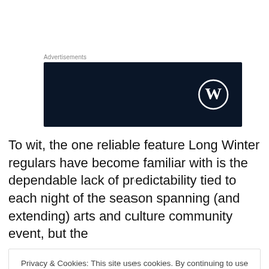Advertisements
[Figure (logo): Dark navy blue advertisement banner with WordPress logo (circular W icon) in white on the right side]
To wit, the one reliable feature Long Winter regulars have become familiar with is the dependable lack of predictability tied to each night of the season spanning (and extending) arts and culture community event, but the
Privacy & Cookies: This site uses cookies. By continuing to use this website, you agree to their use. To find out more, including how to control cookies, see here: Cookie Policy
Close and accept